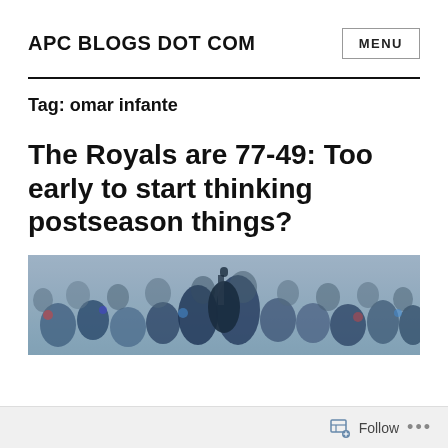APC BLOGS DOT COM
Tag: omar infante
The Royals are 77-49: Too early to start thinking postseason things?
[Figure (photo): Crowd photo at a baseball stadium, partially visible, showing fans in the stands with blue team colors]
Follow ...